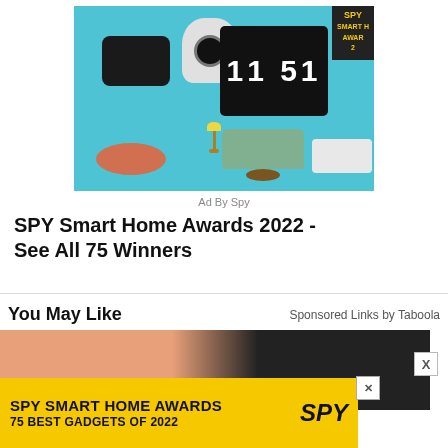[Figure (photo): Photo of smart home devices on a teal/cyan background including a black speaker, white camera, flip clock showing 11:51, Google Home pebble device, miniature sofa furniture, and a white security camera. SPY Smart Home Awards badge in top right corner.]
Ad By Spy
SPY Smart Home Awards 2022 - See All 75 Winners
You May Like
Sponsored Links by Taboola
[Figure (photo): Partially visible photo showing skin tone and dark background, part of a Taboola sponsored content section.]
[Figure (other): Bottom banner advertisement: SPY SMART HOME AWARDS 75 BEST GADGETS OF 2022 with SPY logo on yellow background, with close X button.]